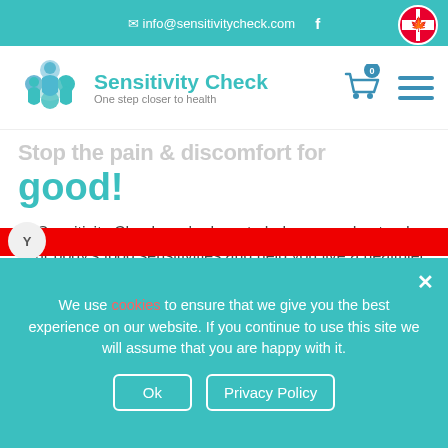info@sensitivitycheck.com
[Figure (logo): Sensitivity Check logo with teal icon of three human figures and text 'Sensitivity Check - One step closer to health']
Stop the pain & discomfort for good!
At Sensitivity Check, we're here to help you understand your body's food sensitivities and help you live a healthier life. Our simple tests
We use cookies to ensure that we give you the best experience on our website. If you continue to use this site we will assume that you are happy with it.
Ok
Privacy Policy